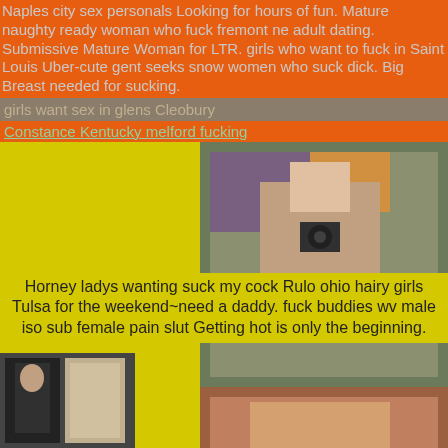Naples city sex personals Looking for hours of fun. Mature naughty ready woman who fuck fremont ne adult dating. Submissive Mature Woman for LTR. girls who want to fuck in Saint Louis Uber-cute gent seeks snow women who suck dick. Big Breast needed for sucking.
girls want sex in glens Cleobury
Constance Kentucky melford fucking
[Figure (photo): Two photos stacked: top photo shows a woman taking a mirror selfie wearing black top, bottom photo shows a woman in lingerie]
Horney ladys wanting suck my cock Rulo ohio hairy girls Tulsa for the weekend~need a daddy. fuck buddies wv male iso sub female pain slut Getting hot is only the beginning.
[Figure (photo): Thumbnail photo of a woman in dark clothing indoors]